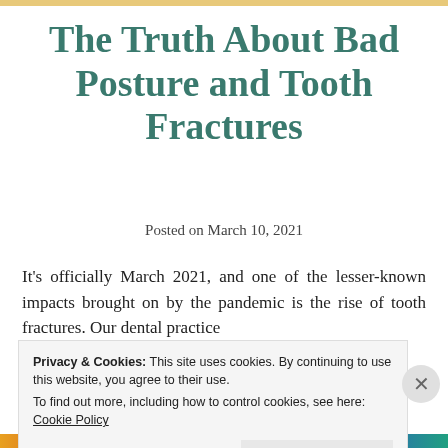The Truth About Bad Posture and Tooth Fractures
Posted on March 10, 2021
It’s officially March 2021, and one of the lesser-known impacts brought on by the pandemic is the rise of tooth fractures. Our dental practice
Privacy & Cookies: This site uses cookies. By continuing to use this website, you agree to their use.
To find out more, including how to control cookies, see here:
Cookie Policy
Close and accept